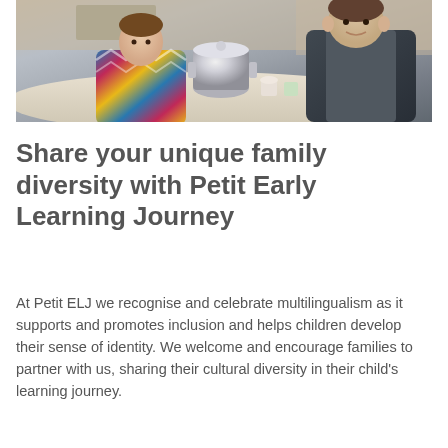[Figure (photo): Children sitting around a table in a classroom/daycare setting, with a silver pot and various items on the table. One child wears a colorful zigzag-patterned sweater, another wears a dark raglan shirt.]
Share your unique family diversity with Petit Early Learning Journey
At Petit ELJ we recognise and celebrate multilingualism as it supports and promotes inclusion and helps children develop their sense of identity. We welcome and encourage families to partner with us, sharing their cultural diversity in their child's learning journey.